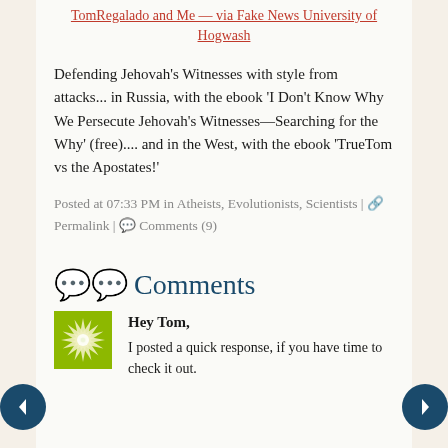TomRegalado and Me — via Fake News University of Hogwash
Defending Jehovah's Witnesses with style from attacks... in Russia, with the ebook 'I Don't Know Why We Persecute Jehovah's Witnesses—Searching for the Why' (free).... and in the West, with the ebook 'TrueTom vs the Apostates!'
Posted at 07:33 PM in Atheists, Evolutionists, Scientists | Permalink | Comments (9)
Comments
[Figure (illustration): Green starburst avatar icon with white center]
Hey Tom,
I posted a quick response, if you have time to check it out.